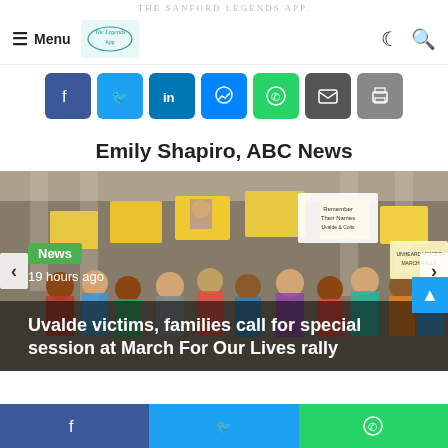The Sanford Legends App.
Menu | The Legends [logo]
[Figure (screenshot): Social share buttons row: Facebook (blue), Twitter (light blue), LinkedIn (dark blue), Messenger (blue), WhatsApp (green), Email (grey), Print (grey)]
Emily Shapiro, ABC News
[Figure (photo): Crowd of protesters holding signs at what appears to be a March For Our Lives rally outside a building with columns. A green 'News' badge, '19 hours ago' timestamp, and headline 'Uvalde victims, families call for special session at March For Our Lives rally' overlaid on image. Left and right carousel arrows visible.]
Facebook share | Twitter share | WhatsApp share